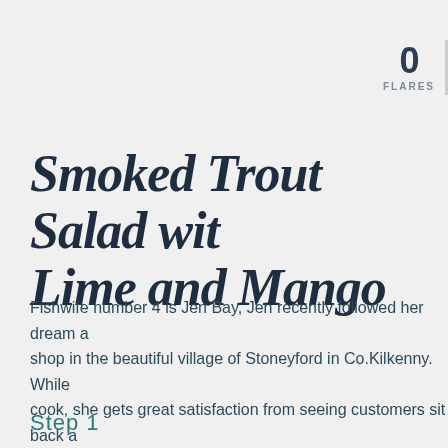0 FLARES
Smoked Trout Salad with Lime and Mango
Fishwife number 4 is Jen Bay, Jen recently followed her dream and opened a shop in the beautiful village of Stoneyford in Co.Kilkenny. While an excellent cook, she gets great satisfaction from seeing customers sit back and enjoy Jen's! She feels blessed to be surrounded by fantastic local produce and create new dishes all the time. Luckily her family share in her dream and do their bit. Jen has recently added an early evening menu with
Step 1